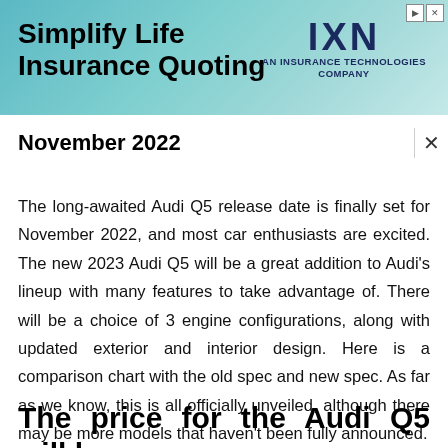[Figure (infographic): Advertisement banner for IXN Insurance Technologies Company with text 'Simplify Life Insurance Quoting' on teal/cyan background with IXN logo on the right.]
November 2022
The long-awaited Audi Q5 release date is finally set for November 2022, and most car enthusiasts are excited. The new 2023 Audi Q5 will be a great addition to Audi's lineup with many features to take advantage of. There will be a choice of 3 engine configurations, along with updated exterior and interior design. Here is a comparison chart with the old spec and new spec. As far as we know, this is all officially unveiled, although there may be more models that haven't been fully announced.
The price for the Audi Q5 will be